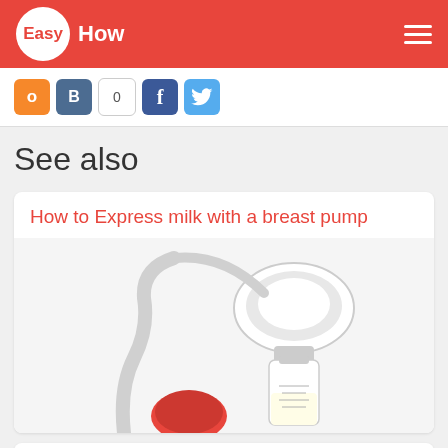Easy How
[Figure (screenshot): Social sharing buttons: Odnoklassniki (orange), VKontakte (blue B), count 0, Facebook (blue f), Twitter (blue bird)]
See also
[Figure (photo): Breast pump with tubing, shield, and bottle containing milk on white background]
How to Express milk with a breast pump
How to prepare the mixture for lactation walnut